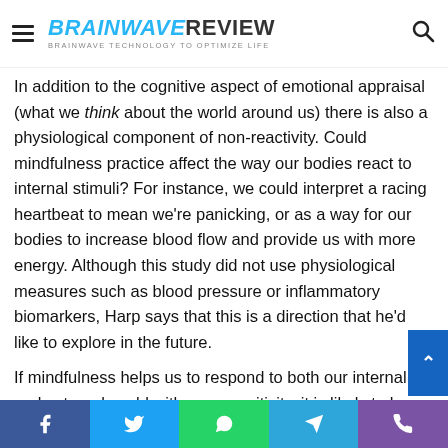BRAINWAVE REVIEW — BRAINWAVE TECHNOLOGY TO OPTIMIZE LIFE
In addition to the cognitive aspect of emotional appraisal (what we think about the world around us) there is also a physiological component of non-reactivity. Could mindfulness practice affect the way our bodies react to internal stimuli? For instance, we could interpret a racing heartbeat to mean we're panicking, or as a way for our bodies to increase blood flow and provide us with more energy. Although this study did not use physiological measures such as blood pressure or inflammatory biomarkers, Harp says that this is a direction that he'd like to explore in the future.
If mindfulness helps us to respond to both our internal and external world with more positivity, it is likely to have a long-term impact on the way we approach challenging situations